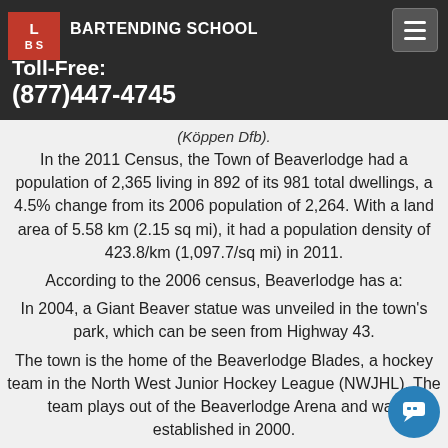LBS BARTENDING SCHOOL
Toll-Free: (877)447-4745
on Highway 43, 43 km (27 mi) west of Grande Prairie and 45 km ... British Columbia border ...
Beaverlodge experiences a subarctic climate (Köppen climate ... that borders on a humid continental climate (Köppen Dfb).
In the 2011 Census, the Town of Beaverlodge had a population of 2,365 living in 892 of its 981 total dwellings, a 4.5% change from its 2006 population of 2,264. With a land area of 5.58 km (2.15 sq mi), it had a population density of 423.8/km (1,097.7/sq mi) in 2011.
According to the 2006 census, Beaverlodge has a:
In 2004, a Giant Beaver statue was unveiled in the town's park, which can be seen from Highway 43.
The town is the home of the Beaverlodge Blades, a hockey team in the North West Junior Hockey League (NWJHL). The team plays out of the Beaverlodge Arena and was established in 2000.
The town has an arena, an indoor swimming pool, and play parks